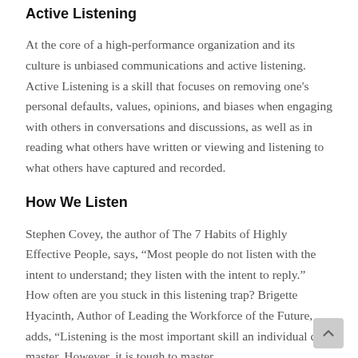Active Listening
At the core of a high-performance organization and its culture is unbiased communications and active listening.  Active Listening is a skill that focuses on removing one’s personal defaults, values, opinions, and biases when engaging with others in conversations and discussions, as well as in reading what others have written or viewing and listening to what others have captured and recorded.
How We Listen
Stephen Covey, the author of The 7 Habits of Highly Effective People, says, “Most people do not listen with the intent to understand; they listen with the intent to reply.” How often are you stuck in this listening trap? Brigette Hyacinth, Author of Leading the Workforce of the Future, adds, “Listening is the most important skill an individual can master. However, it is tough to master